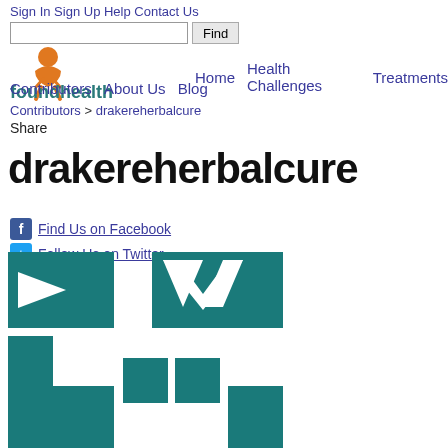Sign In  Sign Up  Help  Contact Us
Find
[Figure (logo): Foundhealth logo with orange figure icon and teal text]
Home  Health Challenges  Treatments  Contributors  About Us  Blog
Contributors > drakereherbalcure
Share
drakereherbalcure
Find Us on Facebook
Follow Us on Twitter
[Figure (illustration): Teal and white geometric pattern with arrow and chevron shapes]